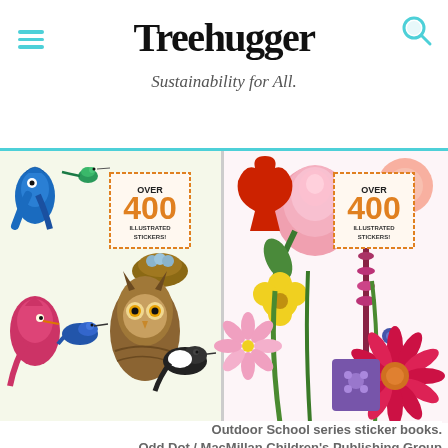Treehugger
Sustainability for All.
[Figure (photo): Two sticker book covers from the Outdoor School series — left cover shows illustrated birds (blue jay, hummingbird, owl, etc.) with badge reading OVER 400 ILLUSTRATED STICKERS!, right cover shows illustrated flowers (roses, dahlias, yellow flowers) with same badge.]
Outdoor School series sticker books.
Odd Dot / MacMillan Children's Publishing Group
"America’s kids are caught in one of the largest mass migrations in recent history: the movement indoors an